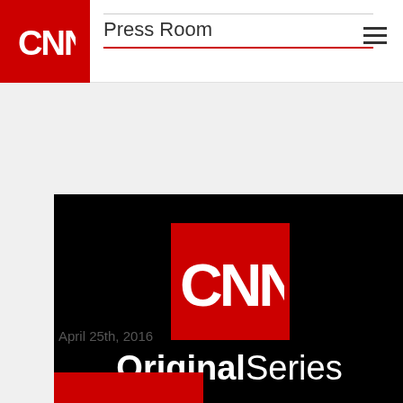CNN Press Room
[Figure (logo): CNN Original Series logo on black background with red CNN square logo and white text 'OriginalSeries']
April 25th, 2016